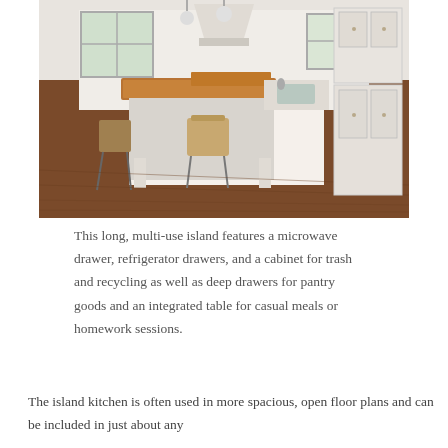[Figure (photo): A bright, spacious kitchen with a long multi-use island featuring a wooden butcher block top, integrated seating with wicker and metal bar stools, white cabinetry, pendant lights, and hardwood flooring.]
This long, multi-use island features a microwave drawer, refrigerator drawers, and a cabinet for trash and recycling as well as deep drawers for pantry goods and an integrated table for casual meals or homework sessions.
The island kitchen is often used in more spacious, open floor plans and can be included in just about any